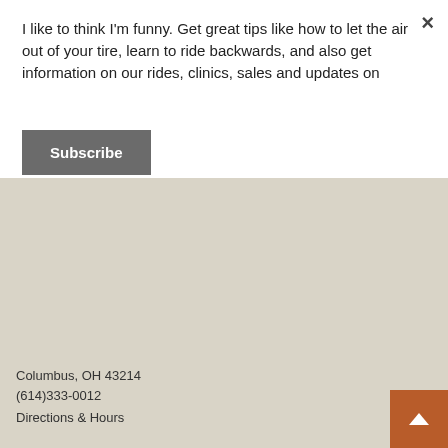I like to think I'm funny. Get great tips like how to let the air out of your tire, learn to ride backwards, and also get information on our rides, clinics, sales and updates on
Subscribe
Columbus, OH 43214
(614)333-0012
Directions & Hours
Information
About Us
Johnny Velo Blog
Contact Us
Careers
Financing